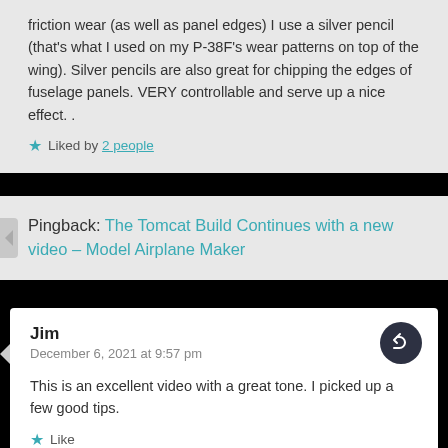friction wear (as well as panel edges) I use a silver pencil (that's what I used on my P-38F's wear patterns on top of the wing). Silver pencils are also great for chipping the edges of fuselage panels. VERY controllable and serve up a nice effect. .
★ Liked by 2 people
Pingback: The Tomcat Build Continues with a new video – Model Airplane Maker
Jim
December 6, 2021 at 9:57 pm
This is an excellent video with a great tone. I picked up a few good tips.
★ Like